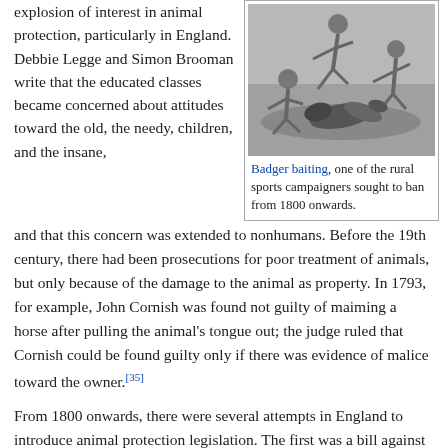explosion of interest in animal protection, particularly in England. Debbie Legge and Simon Brooman write that the educated classes became concerned about attitudes toward the old, the needy, children, and the insane,
[Figure (illustration): Black and white illustration of badger baiting, showing men and dogs engaged in the rural sport]
Badger baiting, one of the rural sports campaigners sought to ban from 1800 onwards.
and that this concern was extended to nonhumans. Before the 19th century, there had been prosecutions for poor treatment of animals, but only because of the damage to the animal as property. In 1793, for example, John Cornish was found not guilty of maiming a horse after pulling the animal's tongue out; the judge ruled that Cornish could be found guilty only if there was evidence of malice toward the owner.[35]
From 1800 onwards, there were several attempts in England to introduce animal protection legislation. The first was a bill against bull baiting, introduced in April 1800 by a Scottish MP, Sir William Pulteney (1729–1805). It was opposed inter alia on the grounds